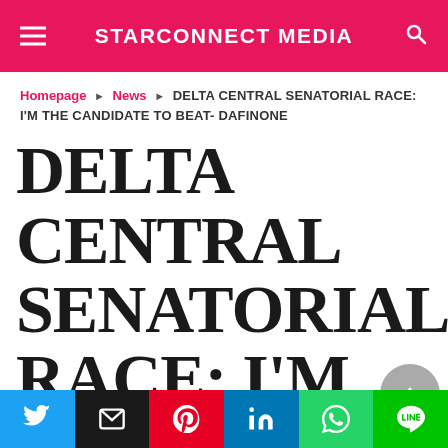STARCONNECT MEDIA
Homepage ▶ News ▶ DELTA CENTRAL SENATORIAL RACE: I'M THE CANDIDATE TO BEAT- DAFINONE
DELTA CENTRAL SENATORIAL RACE: I'M THE CANDIDATE TO BEAT- DAFINONE